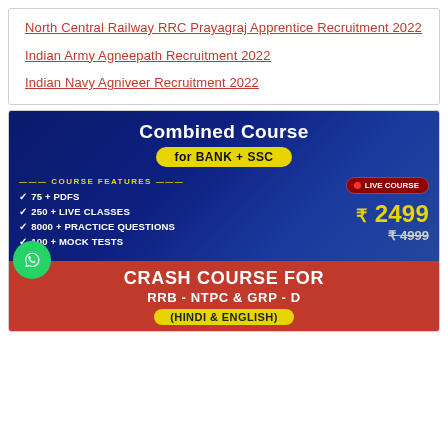North Central Railway RRC Prayagraj Apprentice Recruitment 2022
Indian Army Agneepath Recruitment 2022
Indian Navy Agniveer Recruitment 2022
[Figure (infographic): Combined Course advertisement banner for BANK + SSC with dark blue background. Shows course features: 75+ PDFs, 250+ Live Classes, 8000+ Practice Questions, 100+ Mock Tests. Price: ₹2499 (original ₹4999 crossed out). Live Course badge shown. Below is a red Crash Course banner for RRB-NTPC & GRP-D in Hindi & English with yellow pill badge.]